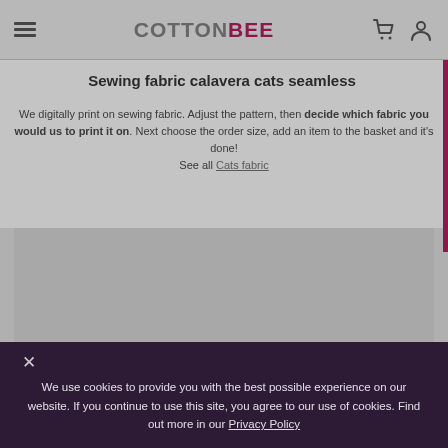COTTONBEE (logo with hamburger menu, cart and user icons)
Sewing fabric calavera cats seamless
We digitally print on sewing fabric. Adjust the pattern, then decide which fabric you would us to print it on. Next choose the order size, add an item to the basket and it's done! See all Cats fabric
[Figure (photo): Product image area showing sewing fabric with calavera cats seamless pattern — placeholder grey area]
We use cookies to provide you with the best possible experience on our website. If you continue to use this site, you agree to our use of cookies. Find out more in our Privacy Policy